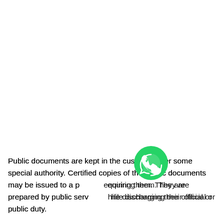Public documents are kept in the custody under some special authority. Certified copies of the Public documents may be issued to a person requiring them. They are prepared by public servants while discharging their official or public duty.
[Figure (other): WhatsApp contact button — green circle with white WhatsApp logo (speech bubble with phone handset icon)]